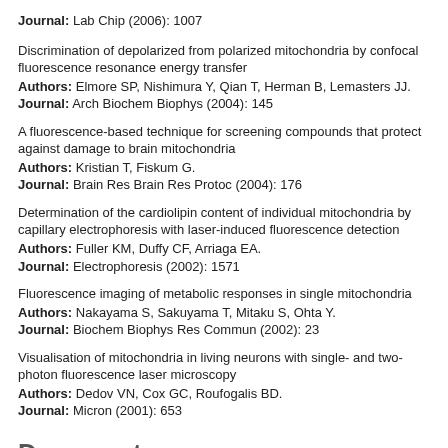Journal: Lab Chip (2006): 1007
Discrimination of depolarized from polarized mitochondria by confocal fluorescence resonance energy transfer
Authors: Elmore SP, Nishimura Y, Qian T, Herman B, Lemasters JJ.
Journal: Arch Biochem Biophys (2004): 145
A fluorescence-based technique for screening compounds that protect against damage to brain mitochondria
Authors: Kristian T, Fiskum G.
Journal: Brain Res Brain Res Protoc (2004): 176
Determination of the cardiolipin content of individual mitochondria by capillary electrophoresis with laser-induced fluorescence detection
Authors: Fuller KM, Duffy CF, Arriaga EA.
Journal: Electrophoresis (2002): 1571
Fluorescence imaging of metabolic responses in single mitochondria
Authors: Nakayama S, Sakuyama T, Mitaku S, Ohta Y.
Journal: Biochem Biophys Res Commun (2002): 23
Visualisation of mitochondria in living neurons with single- and two-photon fluorescence laser microscopy
Authors: Dedov VN, Cox GC, Roufogalis BD.
Journal: Micron (2001): 653
Documents